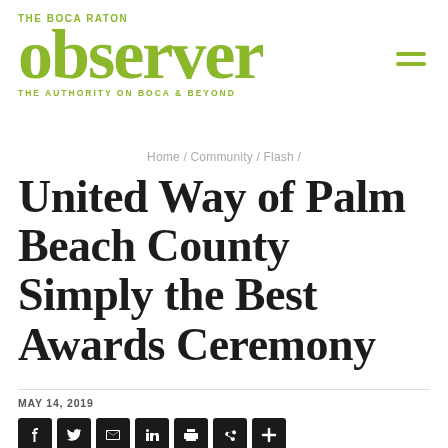THE BOCA RATON observer THE AUTHORITY ON BOCA & BEYOND
Home / Community / Flash /
United Way of Palm Beach County Simply the Best Awards Ceremony
MAY 14, 2019
[Figure (infographic): Social media sharing icons: Facebook, Twitter, Email, LinkedIn, Print, Share, Plus]